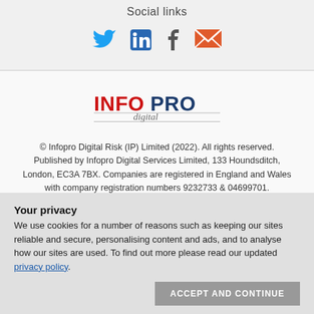Social links
[Figure (illustration): Social media icons: Twitter (blue bird), LinkedIn (in), Facebook (f), Email (envelope)]
[Figure (logo): Infopro Digital logo — INFOPRO in red and dark blue, digital in grey italic script]
© Infopro Digital Risk (IP) Limited (2022). All rights reserved. Published by Infopro Digital Services Limited, 133 Houndsditch, London, EC3A 7BX. Companies are registered in England and Wales with company registration numbers 9232733 & 04699701.
Your privacy
We use cookies for a number of reasons such as keeping our sites reliable and secure, personalising content and ads, and to analyse how our sites are used. To find out more please read our updated privacy policy.
ACCEPT AND CONTINUE